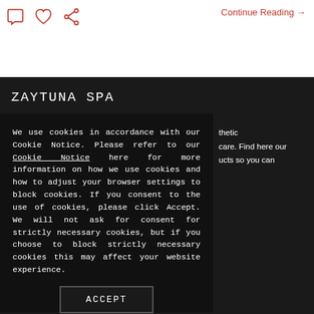[Figure (illustration): Three red outline icons: speech bubble, heart, and share/network symbol]
Continue Reading →
ZAYTUNA SPA
We use cookies in accordance with our Cookie Notice. Please refer to our Cookie Notice here for more information on how we use cookies and how to adjust your browser settings to block cookies. If you consent to the use of cookies, please click Accept. We will not ask for consent for strictly necessary cookies, but if you choose to block strictly necessary cookies this may affect your website experience.
thetic
care. Find here our
ucts so you can
ACCEPT